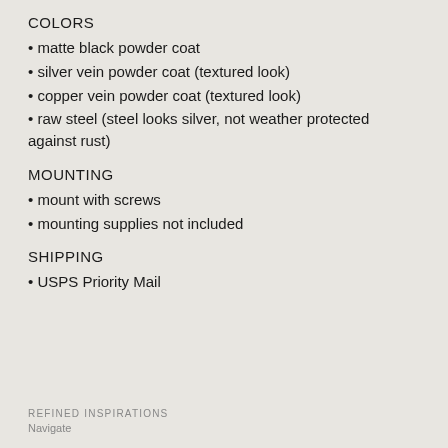COLORS
matte black powder coat
silver vein powder coat (textured look)
copper vein powder coat (textured look)
raw steel (steel looks silver, not weather protected against rust)
MOUNTING
mount with screws
mounting supplies not included
SHIPPING
USPS Priority Mail
REFINED INSPIRATIONS
Navigate